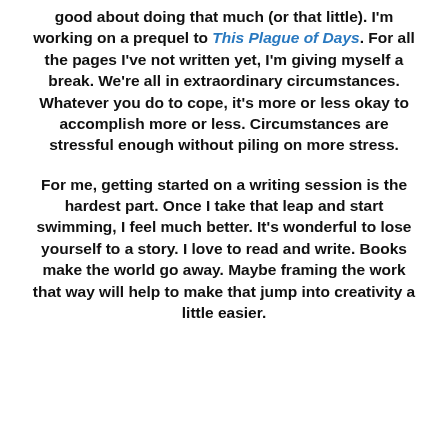good about doing that much (or that little). I'm working on a prequel to This Plague of Days. For all the pages I've not written yet, I'm giving myself a break. We're all in extraordinary circumstances. Whatever you do to cope, it's more or less okay to accomplish more or less. Circumstances are stressful enough without piling on more stress.
For me, getting started on a writing session is the hardest part. Once I take that leap and start swimming, I feel much better. It's wonderful to lose yourself to a story. I love to read and write. Books make the world go away. Maybe framing the work that way will help to make that jump into creativity a little easier.